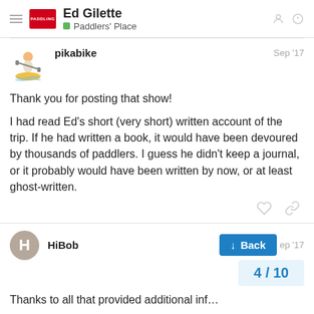Ed Gilette — Paddlers' Place
[Figure (screenshot): Forum post by pikabike with kayaker avatar, dated Sep '17]
Thank you for posting that show!
I had read Ed's short (very short) written account of the trip. If he had written a book, it would have been devoured by thousands of paddlers. I guess he didn't keep a journal, or it probably would have been written by now, or at least ghost-written.
HiBob  Sep '17
Thanks to all that provided additional inf...